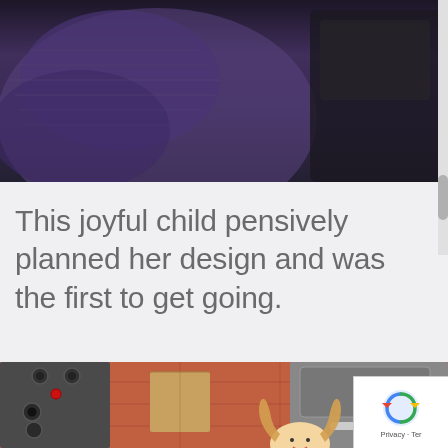[Figure (photo): Top portion of a photo showing a person in a purple/dark knit sweater, with dark equipment or bags visible in the background.]
This joyful child pensively planned her design and was the first to get going.
[Figure (photo): A young blonde girl with pigtails peeking out from under industrial kitchen equipment, with knobs, buttons, an oven, and terracotta-tiled floor visible.]
[Figure (logo): reCAPTCHA badge overlay in the bottom right corner with Privacy and Terms links.]